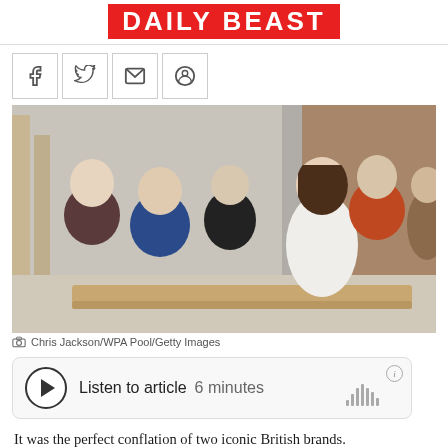DAILY BEAST
[Figure (illustration): Social sharing buttons: Facebook, Twitter, Email, Reddit]
[Figure (photo): Kate Middleton, pregnant, in a white coat, standing among several men in what appears to be a workshop or warehouse setting.]
Chris Jackson/WPA Pool/Getty Images
[Figure (infographic): Audio player widget: Listen to article 6 minutes]
It was the perfect conflation of two iconic British brands.